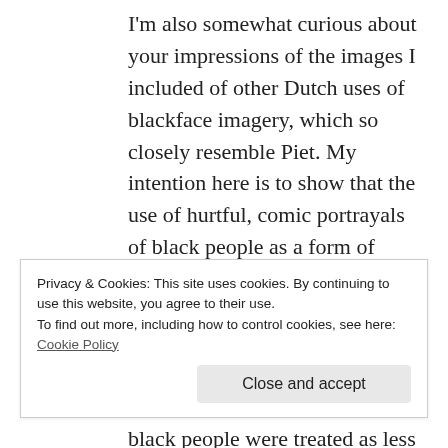I'm also somewhat curious about your impressions of the images I included of other Dutch uses of blackface imagery, which so closely resemble Piet. My intention here is to show that the use of hurtful, comic portrayals of black people as a form of entertainment was not limited to the U.S. 100 years ago, it was widely accepted throughout the world. And those images are associated with a time when black people were treated as less than human — degraded, assaulted, murdered
Privacy & Cookies: This site uses cookies. By continuing to use this website, you agree to their use.
To find out more, including how to control cookies, see here: Cookie Policy
Close and accept